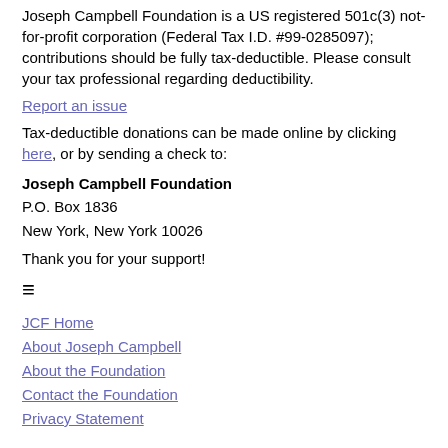Joseph Campbell Foundation is a US registered 501c(3) not-for-profit corporation (Federal Tax I.D. #99-0285097); contributions should be fully tax-deductible. Please consult your tax professional regarding deductibility.
Report an issue
Tax-deductible donations can be made online by clicking here, or by sending a check to:
Joseph Campbell Foundation
P.O. Box 1836
New York, New York 10026
Thank you for your support!
≡
JCF Home
About Joseph Campbell
About the Foundation
Contact the Foundation
Privacy Statement